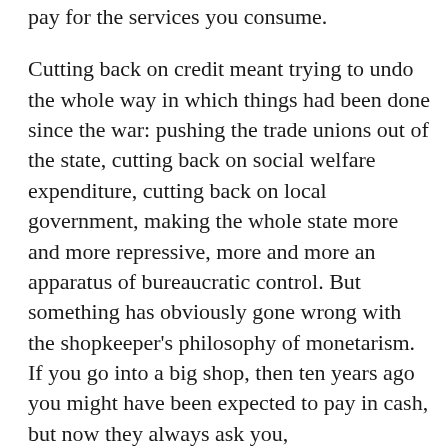pay for the services you consume.

Cutting back on credit meant trying to undo the whole way in which things had been done since the war: pushing the trade unions out of the state, cutting back on social welfare expenditure, cutting back on local government, making the whole state more and more repressive, more and more an apparatus of bureaucratic control. But something has obviously gone wrong with the shopkeeper's philosophy of monetarism. If you go into a big shop, then ten years ago you might have been expected to pay in cash, but now they always ask you,